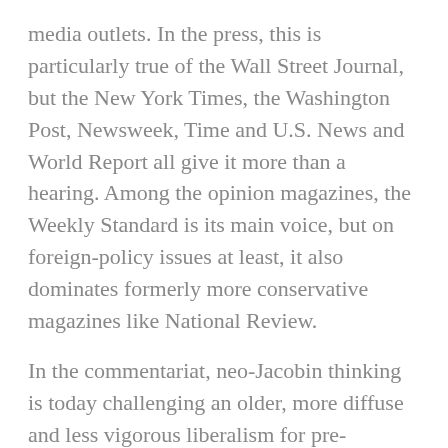media outlets. In the press, this is particularly true of the Wall Street Journal, but the New York Times, the Washington Post, Newsweek, Time and U.S. News and World Report all give it more than a hearing. Among the opinion magazines, the Weekly Standard is its main voice, but on foreign-policy issues at least, it also dominates formerly more conservative magazines like National Review.
In the commentariat, neo-Jacobin thinking is today challenging an older, more diffuse and less vigorous liberalism for pre-eminence. It is omnipresent in the think tanks, especially those emphasizing foreign policy and national security. Its brain-center is the American Enterprise Institute. On television, the Rupert Murdoch-owned Fox News Channel pushes the neoconservative foreign-policy line most conspicuously and reliably, but it flourishes on all the networks and major cable channels. By presenting itself on the radio waves and elsewhere as a form of kick-butt Americanism, neo-Jacobinism has also acquired